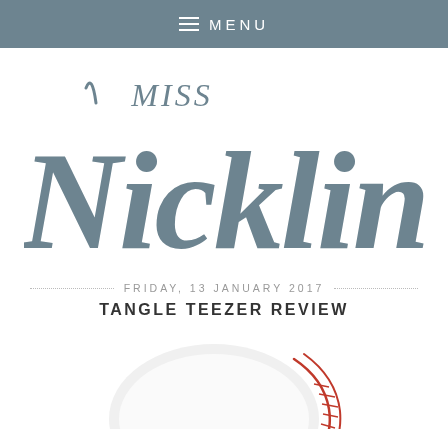≡ MENU
[Figure (logo): Miss Nicklin blog logo in handwritten/script style, grey color]
FRIDAY, 13 JANUARY 2017
TANGLE TEEZER REVIEW
[Figure (photo): A white Tangle Teezer hairbrush with red bristles, partially visible at bottom of page]